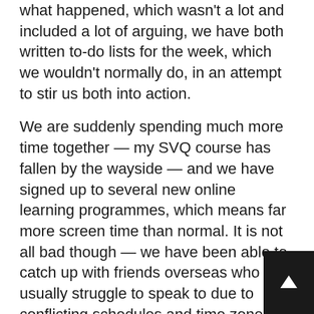what happened, which wasn't a lot and included a lot of arguing, we have both written to-do lists for the week, which we wouldn't normally do, in an attempt to stir us both into action.
We are suddenly spending much more time together — my SVQ course has fallen by the wayside — and we have signed up to several new online learning programmes, which means far more screen time than normal. It is not all bad though — we have been able to catch up with friends overseas who we usually struggle to speak to due to conflicting schedules and time zones.
We are both falling into our natural pattern of getting up late and staying up late. We have completed several projects we haven't had time to get on to, our garden is tidy, and the dog is we[ll]